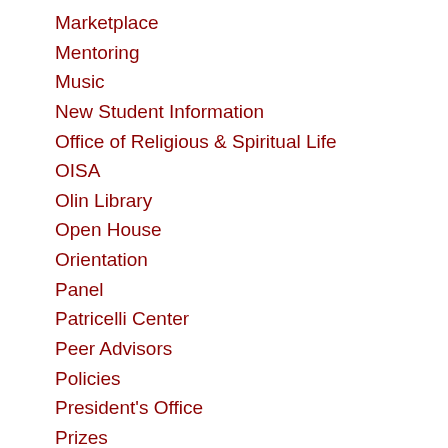Marketplace
Mentoring
Music
New Student Information
Office of Religious & Spiritual Life
OISA
Olin Library
Open House
Orientation
Panel
Patricelli Center
Peer Advisors
Policies
President's Office
Prizes